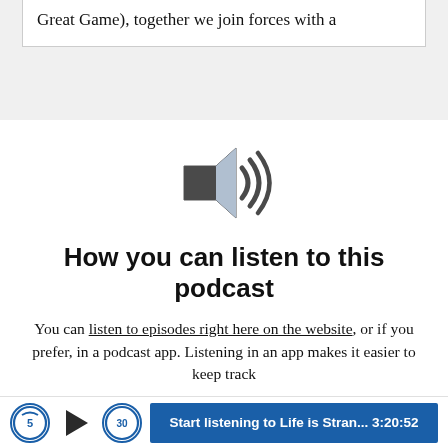Great Game), together we join forces with a
[Figure (illustration): Speaker/audio icon — gray trapezoid speaker body with three curved sound waves on the right]
How you can listen to this podcast
You can listen to episodes right here on the website, or if you prefer, in a podcast app. Listening in an app makes it easier to keep track
Start listening to Life is Stran... 3:20:52